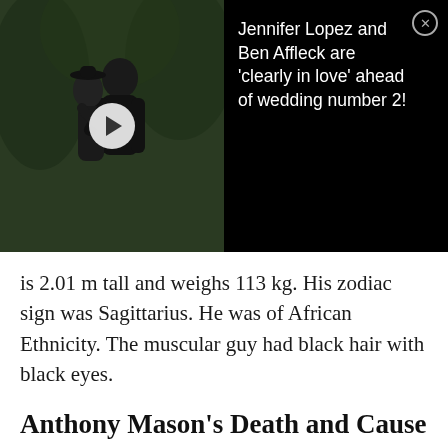[Figure (photo): An advertisement banner showing a couple embracing (Jennifer Lopez and Ben Affleck) against a dark outdoor background with a play button overlay, and text on a black background.]
Jennifer Lopez and Ben Affleck are 'clearly in love' ahead of wedding number 2!
is 2.01 m tall and weighs 113 kg. His zodiac sign was Sagittarius. He was of African Ethnicity. The muscular guy had black hair with black eyes.
Anthony Mason's Death and Cause of Death
Unfortunately, Anthony Mason passed away on February 28, 2015. N.B.A. veteran Mason, who helped the New York Knicks reach the 1994 N.B.A. Finals, died at 48. He ended his